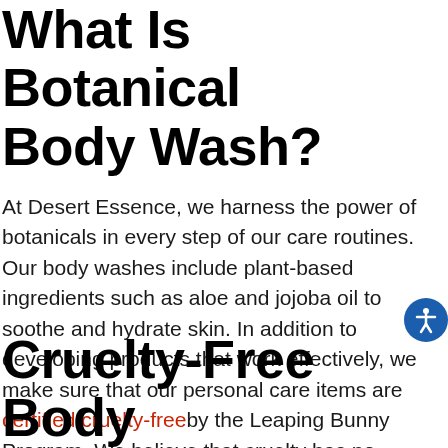What Is Botanical Body Wash?
At Desert Essence, we harness the power of botanicals in every step of our care routines. Our body washes include plant-based ingredients such as aloe and jojoba oil to soothe and hydrate skin. In addition to developing products that work effectively, we make sure that our personal care items are certified cruelty-free by the Leaping Bunny Program. We believe that cruelty has no place in beauty, and our body washes, as well as the rest of our collection, reflect just that.
Cruelty-Free Body Wash to Cleanse All Skin Types